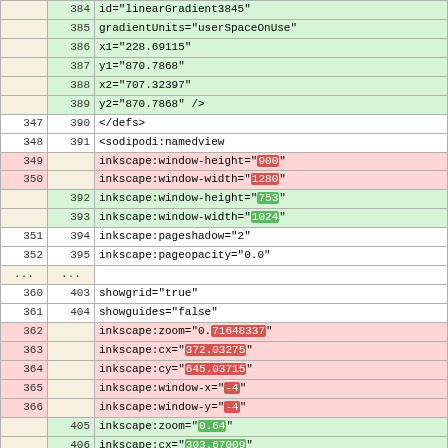| left_line | right_line | code |
| --- | --- | --- |
|  | 384 |     id="linearGradient3845" |
|  | 385 |     gradientUnits="userSpaceOnUse" |
|  | 386 |     x1="228.69115" |
|  | 387 |     y1="870.7868" |
|  | 388 |     x2="707.32397" |
|  | 389 |     y2="870.7868" /> |
| 347 | 390 |   </defs> |
| 348 | 391 |   <sodipodi:namedview |
| 349 |  |         inkscape:window-height="900" |
| 350 |  |         inkscape:window-width="1280" |
|  | 392 |         inkscape:window-height="753" |
|  | 393 |         inkscape:window-width="1024" |
| 351 | 394 |         inkscape:pageshadow="2" |
| 352 | 395 |         inkscape:pageopacity="0.0" |
| ... | ... |  |
| 360 | 403 |         showgrid="true" |
| 361 | 404 |         showguides="false" |
| 362 |  |         inkscape:zoom="0.71648337" |
| 363 |  |         inkscape:cx="372.03275" |
| 364 |  |         inkscape:cy="645.03715" |
| 365 |  |         inkscape:window-x="-4" |
| 366 |  |         inkscape:window-y="-4" |
|  | 405 |         inkscape:zoom="0.64" |
|  | 406 |         inkscape:cx="303.67009" |
|  | 407 |         inkscape:cy="490.16471" |
|  | 408 |         inkscape:window-x="0" |
|  | 409 |         inkscape:window-y="0" |
| 367 | 410 |         inkscape:current-layer="g14168" /> |
| 368 | 411 |   <g |
| ... | ... |  |
| 380 | 423 |   </g> |